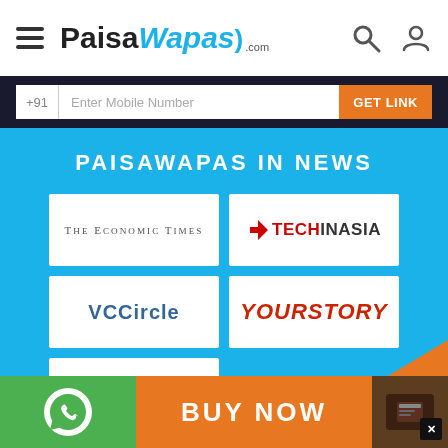PaisaWapas.com
+91 | Enter Mobile Number | Get Link
PAISAWAPAS IN NEWS
[Figure (logo): The Economic Times logo]
[Figure (logo): TechInAsia logo]
[Figure (logo): VCCircle logo]
[Figure (logo): YourStory logo]
[Figure (logo): Inc42 logo]
BUY NOW